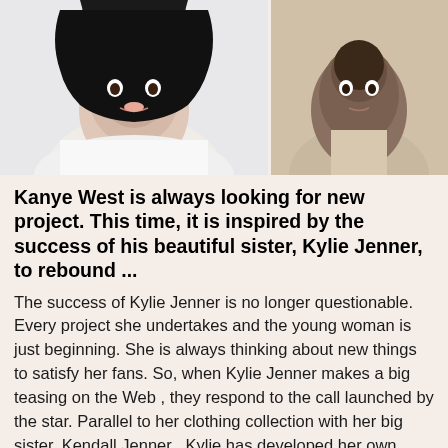[Figure (photo): Two photos side by side: left shows a young woman with long dark hair wearing white, right shows a man in light-colored clothing]
Kanye West is always looking for new project. This time, it is inspired by the success of his beautiful sister, Kylie Jenner, to rebound ...
The success of Kylie Jenner is no longer questionable. Every project she undertakes and the young woman is just beginning. She is always thinking about new things to satisfy her fans. So, when Kylie Jenner makes a big teasing on the Web , they respond to the call launched by the star. Parallel to her clothing collection with her big sister, Kendall Jenner , Kylie has developed her own cosmetics brand. Its products are sold all over the world and tear like buns. It is also because of this success that his brother in law, Kanye West , decided to poke his idea and adapt it to his way to rebound after his burnout ...